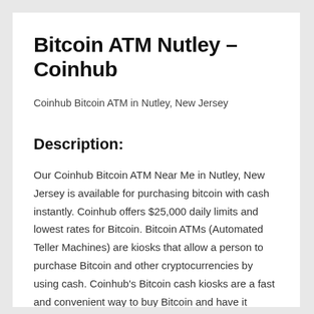Bitcoin ATM Nutley – Coinhub
Coinhub Bitcoin ATM in Nutley, New Jersey
Description:
Our Coinhub Bitcoin ATM Near Me in Nutley, New Jersey is available for purchasing bitcoin with cash instantly. Coinhub offers $25,000 daily limits and lowest rates for Bitcoin. Bitcoin ATMs (Automated Teller Machines) are kiosks that allow a person to purchase Bitcoin and other cryptocurrencies by using cash. Coinhub's Bitcoin cash kiosks are a fast and convenient way to buy Bitcoin and have it delivered directly to your wallet in minutes. Coinhub Bitcoin